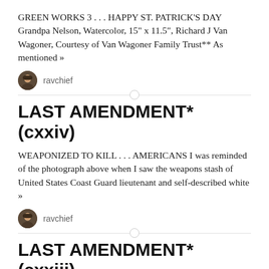GREEN WORKS 3 . . . HAPPY ST. PATRICK'S DAY Grandpa Nelson, Watercolor, 15" x 11.5", Richard J Van Wagoner, Courtesy of Van Wagoner Family Trust** As mentioned »
ravchief
LAST AMENDMENT* (cxxiv)
WEAPONIZED TO KILL . . . AMERICANS I was reminded of the photograph above when I saw the weapons stash of United States Coast Guard lieutenant and self-described white »
ravchief
LAST AMENDMENT* (cxxiii)
HOW TRUMP GAVE SAUDI ARABIA THE BOMB THE CROWN JEWELS AND THEIR PRINCES JARED KUSHNER